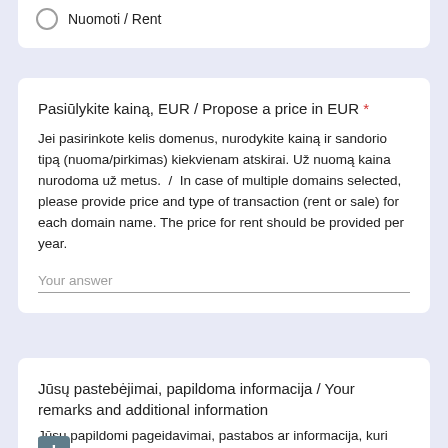Nuomoti / Rent
Pasiūlykite kainą, EUR / Propose a price in EUR *
Jei pasirinkote kelis domenus, nurodykite kainą ir sandorio tipą (nuoma/pirkimas) kiekvienam atskirai. Už nuomą kaina nurodoma už metus.  /  In case of multiple domains selected, please provide price and type of transaction (rent or sale) for each domain name. The price for rent should be provided per year.
Your answer
Jūsų pastebėjimai, papildoma informacija / Your remarks and additional information
Jūsų papildomi pageidavimai, pastabos ar informacija, kuri Jūsų manymu gali būti svarbi